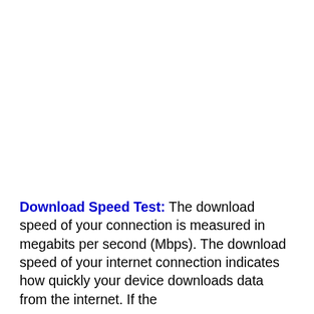Download Speed Test: The download speed of your connection is measured in megabits per second (Mbps). The download speed of your internet connection indicates how quickly your device downloads data from the internet. If the